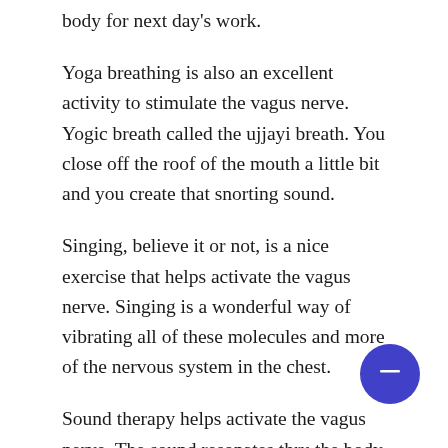body for next day's work.
Yoga breathing is also an excellent activity to stimulate the vagus nerve. Yogic breath called the ujjayi breath. You close off the roof of the mouth a little bit and you create that snorting sound.
Singing, believe it or not, is a nice exercise that helps activate the vagus nerve. Singing is a wonderful way of vibrating all of these molecules and more of the nervous system in the chest.
Sound therapy helps activate the vagus nerve. The sound resonates thru the body and tingles ne
Exercise is also another important technique t